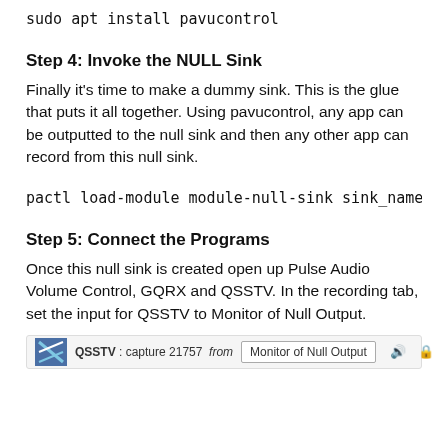sudo apt install pavucontrol
Step 4: Invoke the NULL Sink
Finally it’s time to make a dummy sink. This is the glue that puts it all together. Using pavucontrol, any app can be outputted to the null sink and then any other app can record from this null sink.
pactl load-module module-null-sink sink_name=virt
Step 5: Connect the Programs
Once this null sink is created open up Pulse Audio Volume Control, GQRX and QSSTV. In the recording tab, set the input for QSSTV to Monitor of Null Output.
[Figure (screenshot): Screenshot of QSSTV audio settings bar showing QSSTV: capture 21757 from and Monitor of Null Output dropdown]